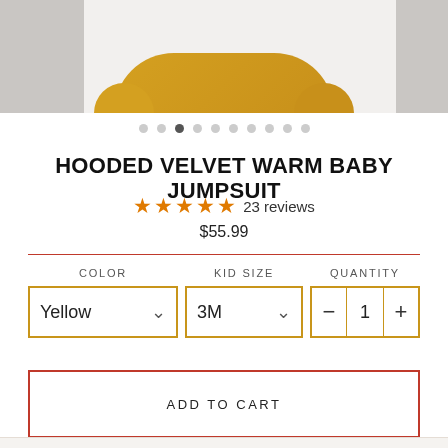[Figure (photo): Partial view of a yellow hooded velvet baby jumpsuit against a light background, with gray panels on either side]
HOODED VELVET WARM BABY JUMPSUIT
★★★★★ 23 reviews
$55.99
COLOR  Yellow ▾   KID SIZE  3M ▾   QUANTITY  − 1 +
ADD TO CART